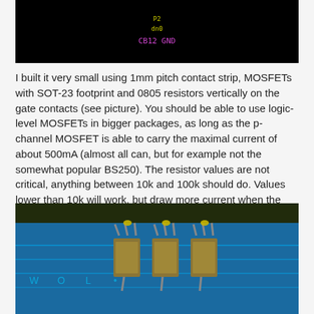[Figure (screenshot): Dark/black background screenshot of a PCB design software showing labels: P2, dn0, CB12, GND in yellow/magenta text]
I built it very small using 1mm pitch contact strip, MOSFETs with SOT-23 footprint and 0805 resistors vertically on the gate contacts (see picture). You should be able to use logic-level MOSFETs in bigger packages, as long as the p-channel MOSFET is able to carry the maximal current of about 500mA (almost all can, but for example not the somewhat popular BS250). The resistor values are not critical, anything between 10k and 100k should do. Values lower than 10k will work, but draw more current when the LED power is turned on.
[Figure (photo): Close-up photo of SOT-23 MOSFETs soldered vertically on a blue PCB circuit board with gold-colored leads]